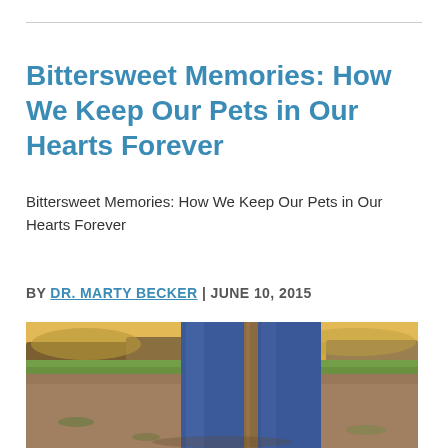Bittersweet Memories: How We Keep Our Pets in Our Hearts Forever
Bittersweet Memories: How We Keep Our Pets in Our Hearts Forever
BY DR. MARTY BECKER | JUNE 10, 2015
[Figure (photo): Outdoor photo showing the lower body of a person wearing blue jeans standing on a dirt path, with green grass and trees in the blurred background, warm sunset light visible.]